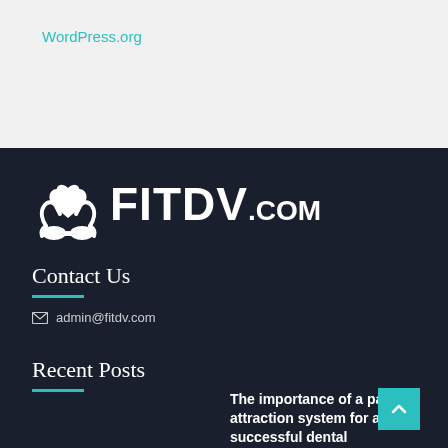WordPress.org
[Figure (logo): FITDV.com logo with white hands holding a heart icon on dark background]
Contact Us
admin@fitdv.com
Recent Posts
The importance of a patient attraction system for a successful dental